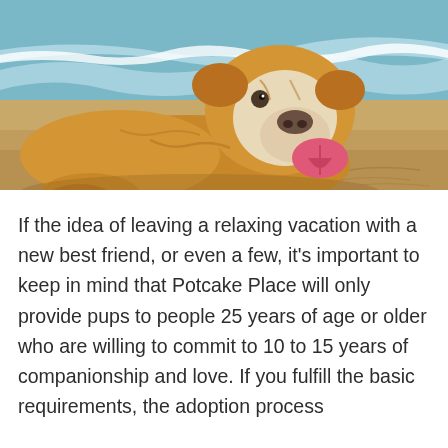[Figure (photo): A bulldog puppy lying on a sandy beach with its tongue out, looking happy. Ocean waves visible in the background.]
If the idea of leaving a relaxing vacation with a new best friend, or even a few, it's important to keep in mind that Potcake Place will only provide pups to people 25 years of age or older who are willing to commit to 10 to 15 years of companionship and love. If you fulfill the basic requirements, the adoption process